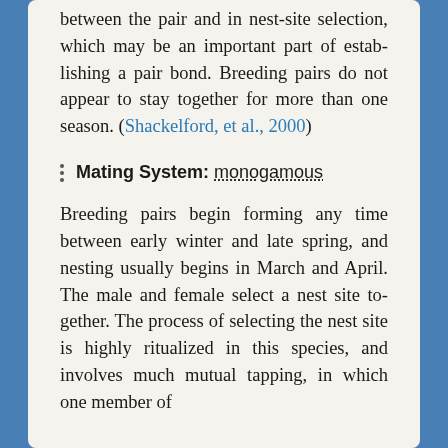between the pair and in nest-site selection, which may be an important part of establishing a pair bond. Breeding pairs do not appear to stay together for more than one season. (Shackelford, et al., 2000)
Mating System: monogamous
Breeding pairs begin forming any time between early winter and late spring, and nesting usually begins in March and April. The male and female select a nest site together. The process of selecting the nest site is highly ritualized in this species, and involves much mutual tapping, in which one member of